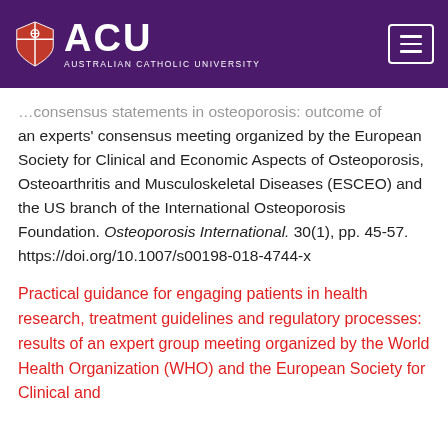[Figure (logo): ACU Australian Catholic University logo with shield and text on purple header bar, and hamburger menu button]
…an experts' consensus meeting organized by the European Society for Clinical and Economic Aspects of Osteoporosis, Osteoarthritis and Musculoskeletal Diseases (ESCEO) and the US branch of the International Osteoporosis Foundation. Osteoporosis International. 30(1), pp. 45-57. https://doi.org/10.1007/s00198-018-4744-x
Practical guidance for engaging patients in health research, treatment guidelines and regulatory processes: results of an expert group meeting organized by the World Health Organization (WHO) and the European Society for Clinical and…